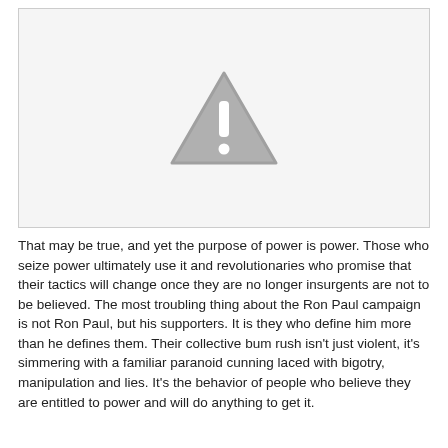[Figure (other): Placeholder image with a grey warning triangle (exclamation mark) icon on a light grey background, bordered by a thin grey rectangle.]
That may be true, and yet the purpose of power is power. Those who seize power ultimately use it and revolutionaries who promise that their tactics will change once they are no longer insurgents are not to be believed. The most troubling thing about the Ron Paul campaign is not Ron Paul, but his supporters. It is they who define him more than he defines them. Their collective bum rush isn't just violent, it's simmering with a familiar paranoid cunning laced with bigotry, manipulation and lies. It's the behavior of people who believe they are entitled to power and will do anything to get it.